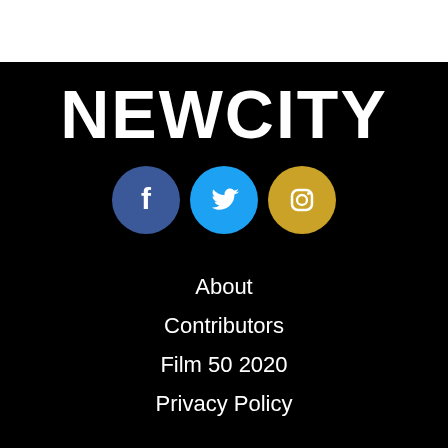[Figure (logo): Newcity logo in white bold uppercase text on black background]
[Figure (infographic): Three social media icons: Facebook (dark blue circle), Twitter (light blue circle), Instagram (gold circle)]
About
Contributors
Film 50 2020
Privacy Policy